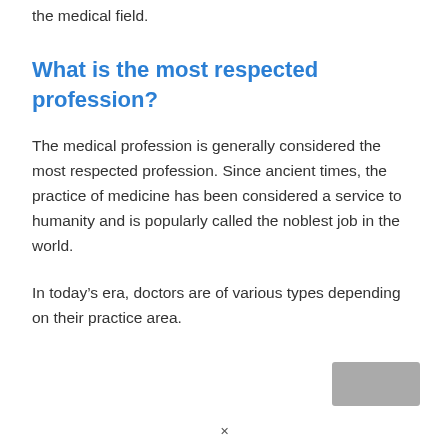the medical field.
What is the most respected profession?
The medical profession is generally considered the most respected profession. Since ancient times, the practice of medicine has been considered a service to humanity and is popularly called the noblest job in the world.
In today’s era, doctors are of various types depending on their practice area.